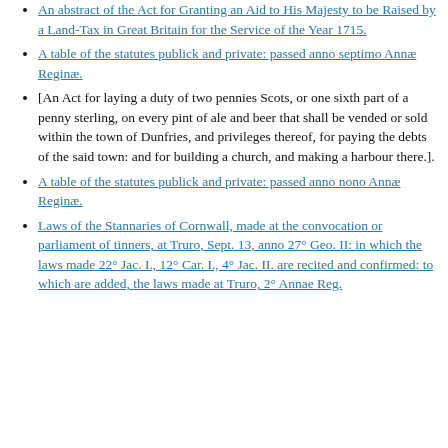An abstract of the Act for Granting an Aid to His Majesty to be Raised by a Land-Tax in Great Britain for the Service of the Year 1715.
A table of the statutes publick and private: passed anno septimo Annæ Reginæ.
[An Act for laying a duty of two pennies Scots, or one sixth part of a penny sterling, on every pint of ale and beer that shall be vended or sold within the town of Dunfries, and privileges thereof, for paying the debts of the said town: and for building a church, and making a harbour there.].
A table of the statutes publick and private: passed anno nono Annæ Reginæ.
Laws of the Stannaries of Cornwall, made at the convocation or parliament of tinners, at Truro, Sept. 13, anno 27° Geo. II: in which the laws made 22° Jac. I., 12° Car. I., 4° Jac. II. are recited and confirmed: to which are added, the laws made at Truro, 2° Annae Reg.